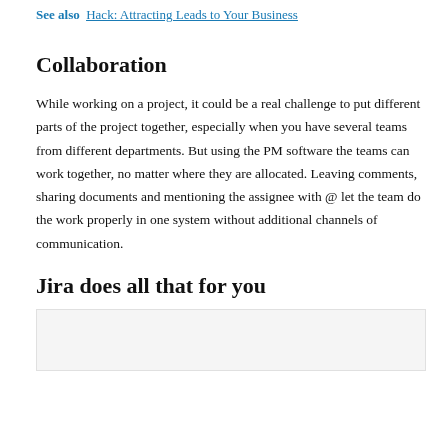See also  Hack: Attracting Leads to Your Business
Collaboration
While working on a project, it could be a real challenge to put different parts of the project together, especially when you have several teams from different departments. But using the PM software the teams can work together, no matter where they are allocated. Leaving comments, sharing documents and mentioning the assignee with @ let the team do the work properly in one system without additional channels of communication.
Jira does all that for you
[Figure (other): Gray placeholder image box]